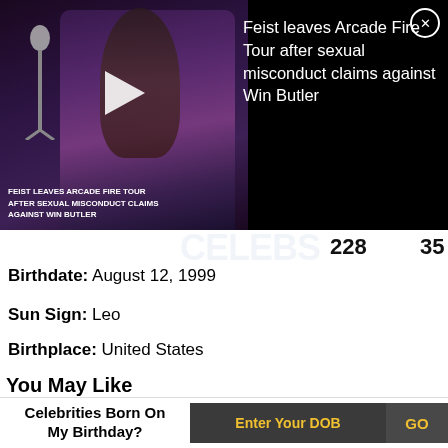[Figure (screenshot): Video thumbnail showing a person performing on stage with a microphone, dark background. Overlay text reads: FEIST LEAVES ARCADE FIRE TOUR AFTER SEXUAL MISCONDUCT CLAIMS AGAINST WIN BUTLER. Right side shows article title text.]
Feist leaves Arcade Fire Tour after sexual misconduct claims against Win Butler
228   35
Birthdate: August 12, 1999
Sun Sign: Leo
Birthplace: United States
You May Like
[Figure (photo): Photo of a young blonde woman smiling, color photo]
[Figure (photo): Black and white photo of a woman with short hair styled up, against geometric background]
Celebrities Born On My Birthday?
Enter Your DOB
GO